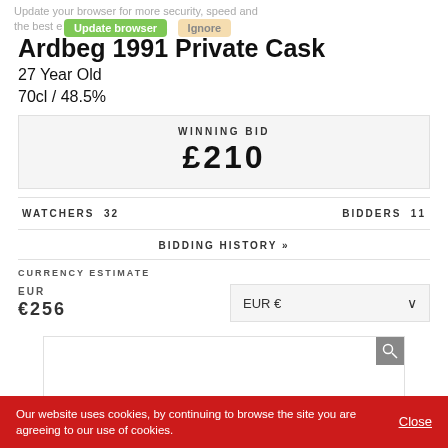Update your browser for more security, speed and the best experience on this site.
Ardbeg 1991 Private Cask
27 Year Old
70cl / 48.5%
| WINNING BID |
| --- |
| £210 |
WATCHERS 32    BIDDERS 11
BIDDING HISTORY »
CURRENCY ESTIMATE
EUR
€256
[Figure (other): Currency dropdown selector showing EUR €]
[Figure (photo): Product image area with zoom icon]
Our website uses cookies, by continuing to browse the site you are agreeing to our use of cookies. Close